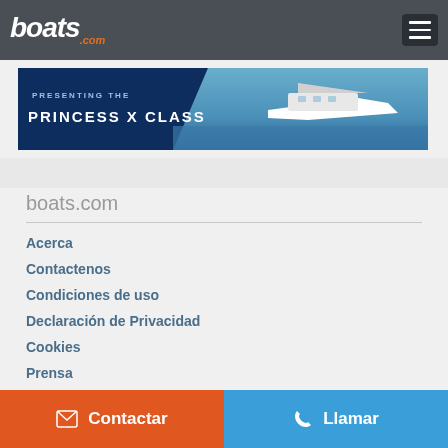boats.com
[Figure (screenshot): Advertisement banner for Princess X Class boat, dark blue background with white text 'PRESENTING THE PRINCESS X CLASS' and yacht image on right]
boats.com
Acerca
Contactenos
Condiciones de uso
Declaración de Privacidad
Cookies
Prensa
Contactar   Llamar